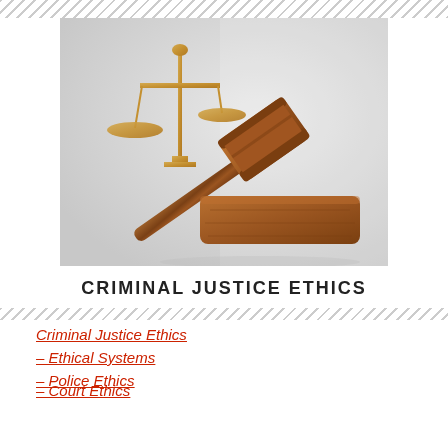[Figure (photo): A wooden judge's gavel resting on its block, with gold balance scales of justice in the background against a light grey background.]
CRIMINAL JUSTICE ETHICS
Criminal Justice Ethics
– Ethical Systems
– Police Ethics
– Court Ethics